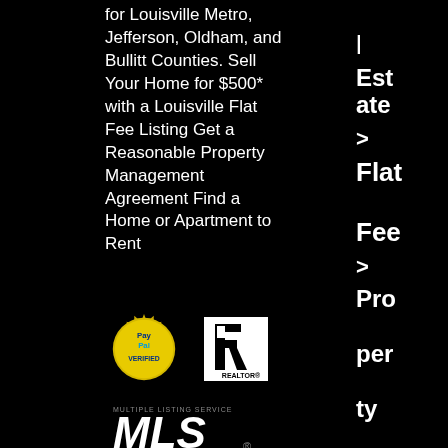for Louisville Metro, Jefferson, Oldham, and Bullitt Counties. Sell Your Home for $500* with a Louisville Flat Fee Listing Get a Reasonable Property Management Agreement Find a Home or Apartment to Rent
l
Est
ate
>
Flat
Fee
>
Pro
per
ty
Ma
nag
[Figure (logo): PayPal Verified badge (gold/yellow circular seal), Realtor logo (black R in square), MLS Multiple Listing Service logo, partial Best badge at bottom]